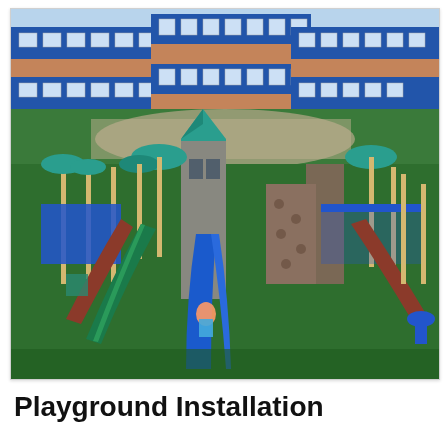[Figure (photo): Aerial perspective rendering of a large colorful playground installation with multiple slides (blue, brown, green), climbing structures with teal/green rooftops and towers, rock climbing walls, and various play elements on a green rubberized surface. A modern school building with blue and brick-red exterior is visible in the background.]
Playground Installation